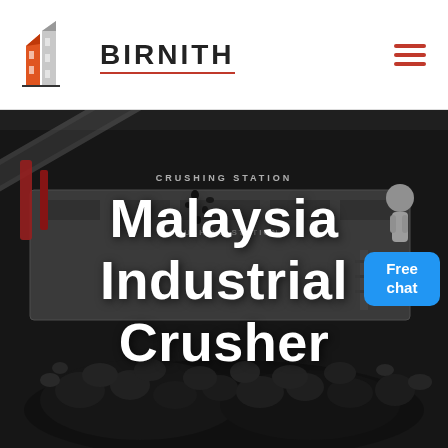[Figure (logo): Birnith company logo: red/orange building/skyscraper icon with company name BIRNITH in bold uppercase letters with red underline, and hamburger menu icon in red on the right]
[Figure (photo): Industrial crusher/crushing station machinery with dark aggregate rocks, workers in the background, dark industrial setting]
Malaysia Industrial Crusher